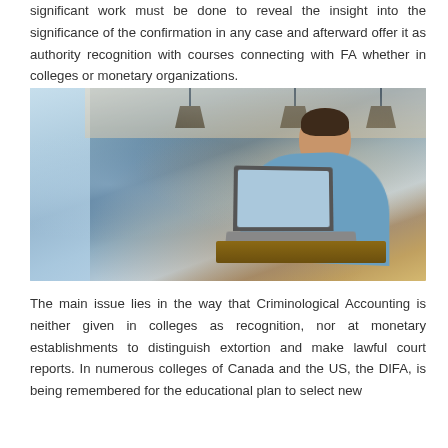significant work must be done to reveal the insight into the significance of the confirmation in any case and afterward offer it as authority recognition with courses connecting with FA whether in colleges or monetary organizations.
[Figure (photo): A man wearing glasses and a blue denim shirt sitting at a wooden table in a café, working on a laptop. The background shows large windows, pendant lamps, and a warm interior.]
The main issue lies in the way that Criminological Accounting is neither given in colleges as recognition, nor at monetary establishments to distinguish extortion and make lawful court reports. In numerous colleges of Canada and the US, the DIFA, is being remembered for the educational plan to select new